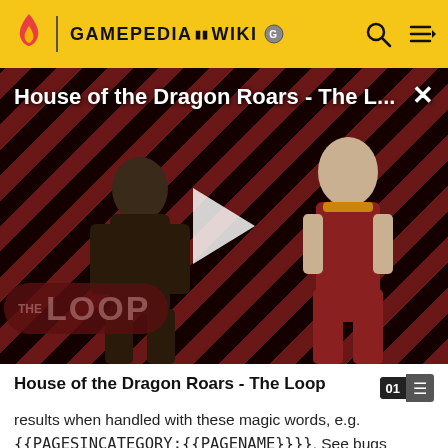GAMEPEDIA  WIKI
[Figure (screenshot): Video thumbnail for 'House of the Dragon Roars - The L...' showing two characters from House of the Dragon on a dark striped background with a play button in the center and 'THE LOOP' branding in the lower left. A close (X) button is in the upper right.]
House of the Dragon Roars - The Loop
results when handled with these magic words, e.g. {{PAGESINCATEGORY:{{PAGENAME}}}}. See bugs 14779, 16474 and 35628. One simple way to fix this is